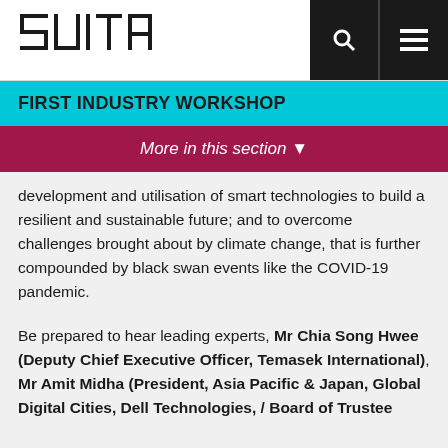SUITA [logo]
FIRST INDUSTRY WORKSHOP
More in this section ▾
development and utilisation of smart technologies to build a resilient and sustainable future; and to overcome challenges brought about by climate change, that is further compounded by black swan events like the COVID-19 pandemic.
Be prepared to hear leading experts, Mr Chia Song Hwee (Deputy Chief Executive Officer, Temasek International), Mr Amit Midha (President, Asia Pacific & Japan, Global Digital Cities, Dell Technologies, / Board of Trustee